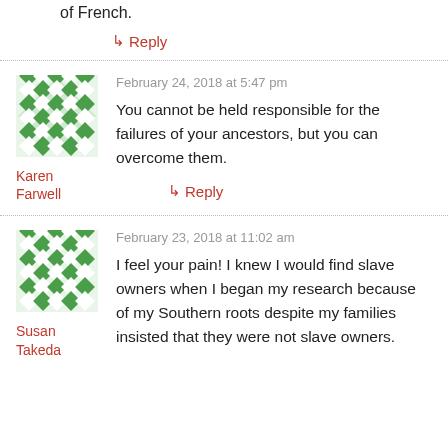of French.
↳ Reply
[Figure (illustration): Green geometric pattern avatar for Karen Farwell]
Karen Farwell
February 24, 2018 at 5:47 pm
You cannot be held responsible for the failures of your ancestors, but you can overcome them.
↳ Reply
[Figure (illustration): Green geometric pattern avatar for Susan Takeda]
Susan Takeda
February 23, 2018 at 11:02 am
I feel your pain! I knew I would find slave owners when I began my research because of my Southern roots despite my families insisted that they were not slave owners.